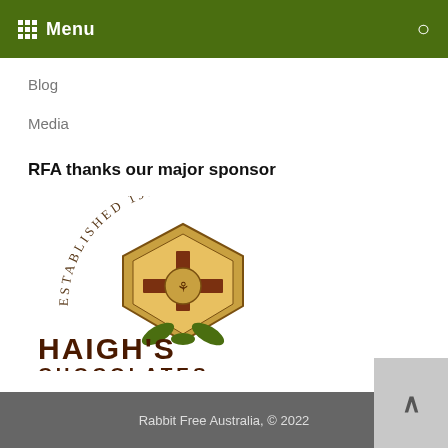Menu
Blog
Media
RFA thanks our major sponsor
[Figure (logo): Haigh's Chocolates logo: decorative crest with 'Established 1915' arc text above, shield/crest emblem in gold/brown, and 'HAIGH'S CHOCOLATES' text below in dark brown.]
Rabbit Free Australia, © 2022